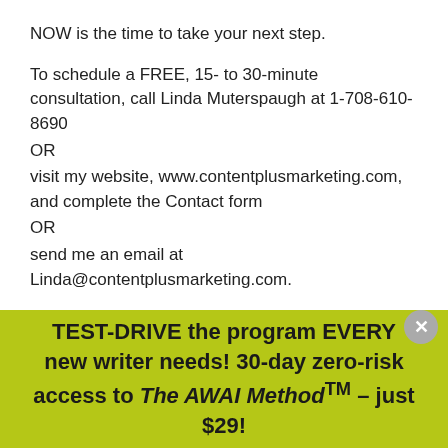NOW is the time to take your next step.

To schedule a FREE, 15- to 30-minute consultation, call Linda Muterspaugh at 1-708-610-8690
OR
visit my website, www.contentplusmarketing.com, and complete the Contact form
OR
send me an email at Linda@contentplusmarketing.com.

Until then, I wish you continued success in building a great business.
TEST-DRIVE the program EVERY new writer needs! 30-day zero-risk access to The AWAI Method™ – just $29!